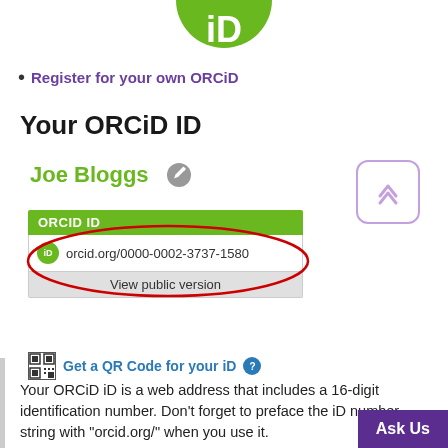[Figure (logo): ORCID logo (green circle with iD text) partially visible at top of page]
Register for your own ORCiD
Your ORCiD ID
[Figure (screenshot): Screenshot showing Joe Bloggs ORCID profile with ORCID iD card showing orcid.org/0000-0002-3737-1580 and View public version, with red oval highlight around the ORCID ID]
Get a QR Code for your iD
Your ORCiD iD is a web address that includes a 16-digit identification number.  Don't forget to preface the iD number string with "orcid.org/" when you use it.